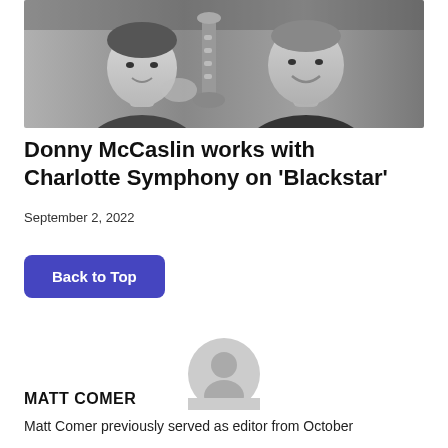[Figure (photo): Black and white photo of two men, one holding a saxophone, smiling at camera]
Donny McCaslin works with Charlotte Symphony on ‘Blackstar’
September 2, 2022
Back to Top
[Figure (illustration): Generic grey user avatar icon]
MATT COMER
Matt Comer previously served as editor from October